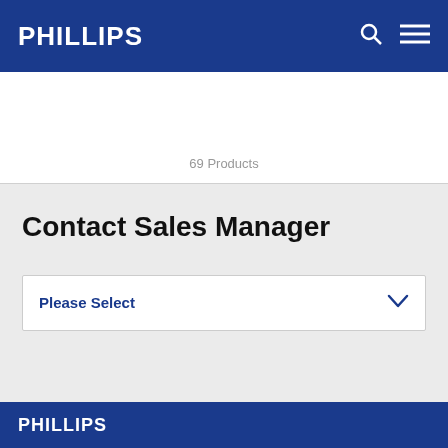PHILLIPS
69 Products
Contact Sales Manager
Please Select
PHILLIPS